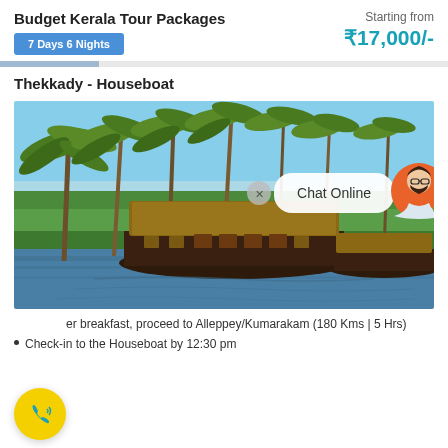Budget Kerala Tour Packages
7 Days 6 Nights
Starting from ₹17,000/-
Thekkady - Houseboat
[Figure (photo): Houseboat on backwaters in Kerala with palm trees and green fields in background. Chat Online overlay with agent avatar visible.]
er breakfast, proceed to Alleppey/Kumarakam (180 Kms | 5 Hrs)
Check-in to the Houseboat by 12:30 pm